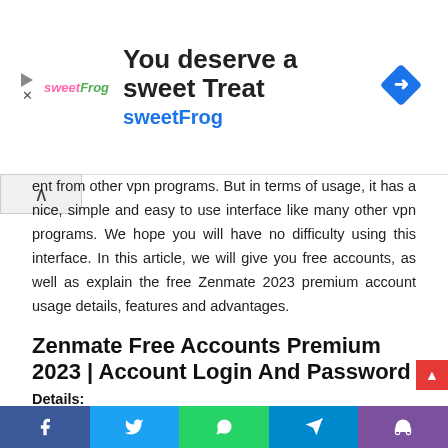[Figure (other): Advertisement banner for sweetFrog with logo, headline 'You deserve a sweet Treat', subheading 'sweetFrog', and a blue diamond navigation icon on the right.]
ent from other vpn programs. But in terms of usage, it has a nice, simple and easy to use interface like many other vpn programs. We hope you will have no difficulty using this interface. In this article, we will give you free accounts, as well as explain the free Zenmate 2023 premium account usage details, features and advantages.
Zenmate Free Accounts Premium 2023 | Account Login And Password
Details:
The free Zenmate 2023 account provides a wide range of network band support to all its users, as well as premium